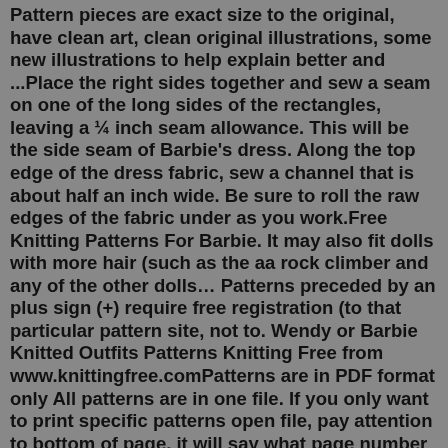Pattern pieces are exact size to the original, have clean art, clean original illustrations, some new illustrations to help explain better and ...Place the right sides together and sew a seam on one of the long sides of the rectangles, leaving a ¼ inch seam allowance. This will be the side seam of Barbie's dress. Along the top edge of the dress fabric, sew a channel that is about half an inch wide. Be sure to roll the raw edges of the fabric under as you work.Free Knitting Patterns For Barbie. It may also fit dolls with more hair (such as the aa rock climber and any of the other dolls… Patterns preceded by an plus sign (+) require free registration (to that particular pattern site, not to. Wendy or Barbie Knitted Outfits Patterns Knitting Free from www.knittingfree.comPatterns are in PDF format only All patterns are in one file. If you only want to print specific patterns open file, pay attention to bottom of page, it will say what page number you are on. when you click on print, type in the page to and from numbers in boxes and hit print. Free knitting